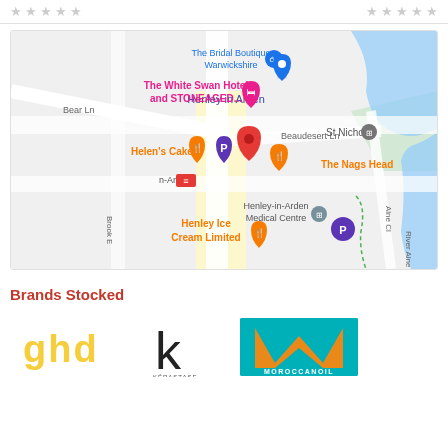★★★★★  ★★★★★
[Figure (map): Google Maps screenshot showing Henley in Arden area with markers for The Bridal Boutique Warwickshire, The White Swan Hotel and STONEAGED..., Helen's Cakery, The Nags Head, Henley-in-Arden Medical Centre, Henley Ice Cream Limited, St Nicholas, and a parking marker. Streets include Bear Ln, Beaudesert Ln, Brook E, and River Alne is shown on the right.]
Brands Stocked
[Figure (logo): ghd logo in yellow dots]
[Figure (logo): Kerastase K logo in black]
[Figure (logo): Moroccanoil logo on teal background with orange M]